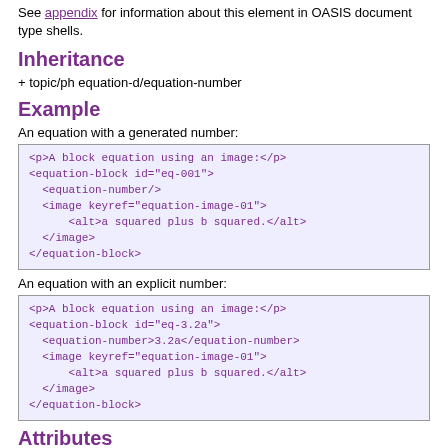See appendix for information about this element in OASIS document type shells.
Inheritance
+ topic/ph equation-d/equation-number
Example
An equation with a generated number:
<p>A block equation using an image:</p>
<equation-block id="eq-001">
  <equation-number/>
  <image keyref="equation-image-01">
      <alt>a squared plus b squared.</alt>
  </antml:image>
</equation-block>
An equation with an explicit number:
<p>A block equation using an image:</p>
<equation-block id="eq-3.2a">
  <equation-number>3.2a</equation-number>
  <image keyref="equation-image-01">
      <alt>a squared plus b squared.</alt>
  </antml:image>
</equation-block>
Attributes